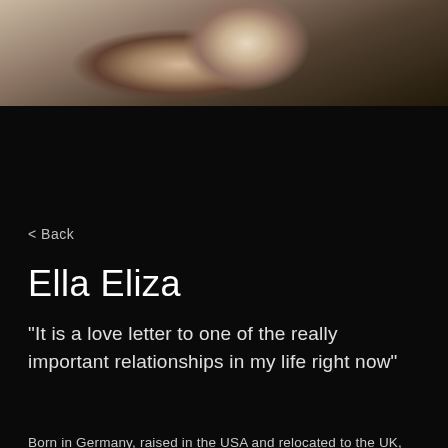[Figure (photo): Partial photo of a person with blonde hair, blurred/cropped at top of page against a dark background]
< Back
Ella Eliza
"It is a love letter to one of the really important relationships in my life right now"
Born in Germany, raised in the USA and relocated to the UK, Ella Eliza is breaking cultural and musical barriers with her unique sonic blend made of Contemporary R&B and Soultronic. First being introduced to classical music by her mother, Ella went on to develop her own artist's vision when she began writing songs at a young age. Finding herself exposed